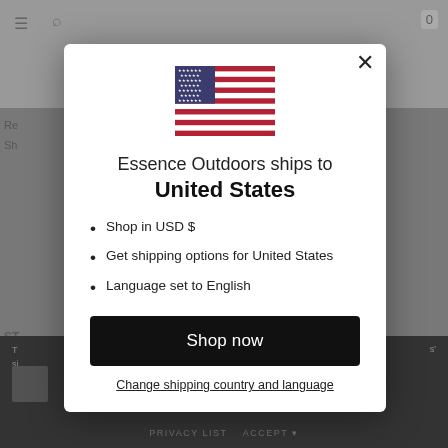[Figure (screenshot): Modal dialog on an e-commerce website showing a US flag, shipping country notification, bullet list of shopping options, a Shop now button, and a Change shipping country and language link.]
Essence Outdoors ships to
United States
Shop in USD $
Get shipping options for United States
Language set to English
Shop now
Change shipping country and language